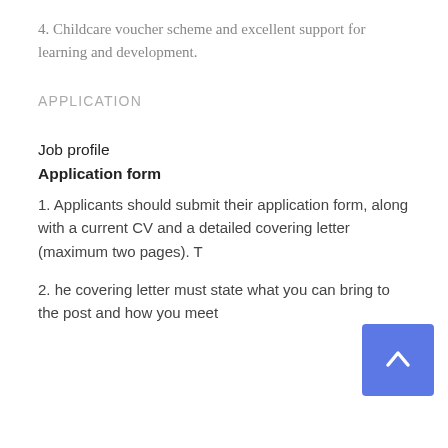4. Childcare voucher scheme and excellent support for learning and development.
APPLICATION
Job profile
Application form
1. Applicants should submit their application form, along with a current CV and a detailed covering letter (maximum two pages). T
2. he covering letter must state what you can bring to the post and how you meet